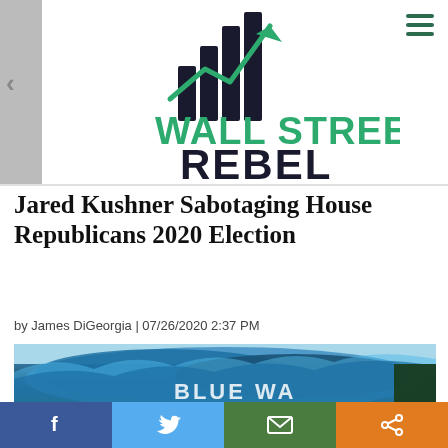[Figure (logo): Wall Street Rebel logo with bar chart icon and upward green arrow, green text 'WALL STREET' and dark bold 'REBEL']
Jared Kushner Sabotaging House Republicans 2020 Election
by James DiGeorgia | 07/26/2020 2:37 PM
[Figure (photo): Ocean wave photo with 'BLUE WAVE' text overlay partially visible at bottom]
[Figure (infographic): Social sharing bar with Facebook, Twitter, Email, and Share buttons]